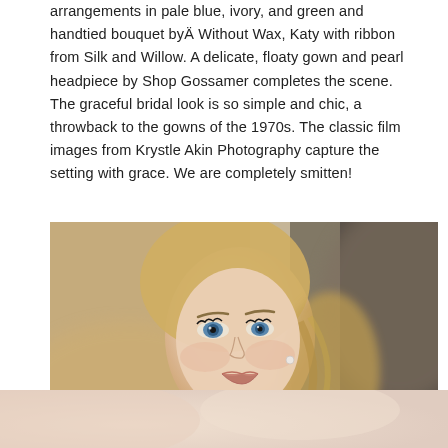arrangements in pale blue, ivory, and green and handtied bouquet byÄ Without Wax, Katy with ribbon from Silk and Willow. A delicate, floaty gown and pearl headpiece by Shop Gossamer completes the scene. The graceful bridal look is so simple and chic, a throwback to the gowns of the 1970s. The classic film images from Krystle Akin Photography capture the setting with grace. We are completely smitten!
SEE IT
[Figure (photo): Close-up portrait of a blonde woman with blue eyes wearing a red dress, photographed outdoors with a blurred warm background. Film-style photography.]
[Figure (photo): Partial view of a blurred, light pink/cream toned photo at the bottom of the page.]